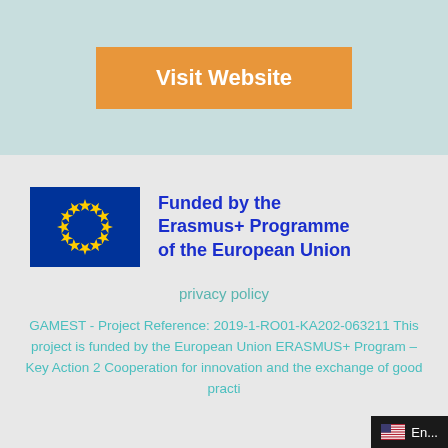[Figure (other): Orange 'Visit Website' button on light teal background]
[Figure (logo): EU flag with circle of yellow stars on blue background, next to text 'Funded by the Erasmus+ Programme of the European Union']
privacy policy
GAMEST - Project Reference: 2019-1-RO01-KA202-063211 This project is funded by the European Union ERASMUS+ Program – Key Action 2 Cooperation for innovation and the exchange of good practi…
[Figure (other): Language selector badge showing US flag and 'En...' text]